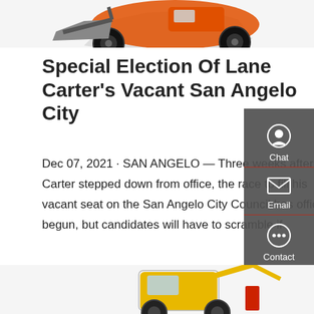[Figure (photo): Partial view of an orange construction loader/front-end loader machine at the top of the page]
Special Election Of Lane Carter's Vacant San Angelo City
Dec 07, 2021 · SAN ANGELO — Three weeks after Lane Carter stepped down from office, the race to fill his vacant seat on the San Angelo City Council has officially begun, but candidates will have to scramble if
[Figure (other): Red 'Get a quote' call-to-action button]
[Figure (other): Sidebar widget with Chat, Email, and Contact icons on dark grey background]
[Figure (photo): Partial view of a yellow construction backhoe/equipment at the bottom of the page]